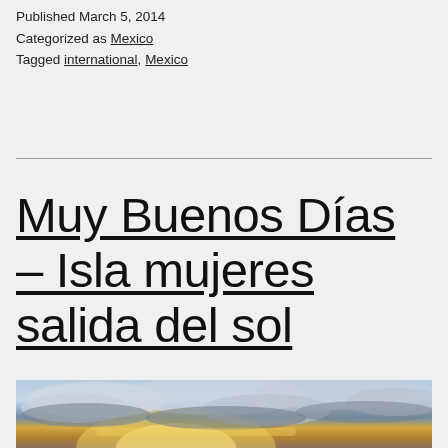Published March 5, 2014
Categorized as Mexico
Tagged international, Mexico
Muy Buenos Días – Isla mujeres salida del sol
[Figure (photo): Sunrise photo with dramatic cloud formations and golden light over water, partially visible at bottom of page]